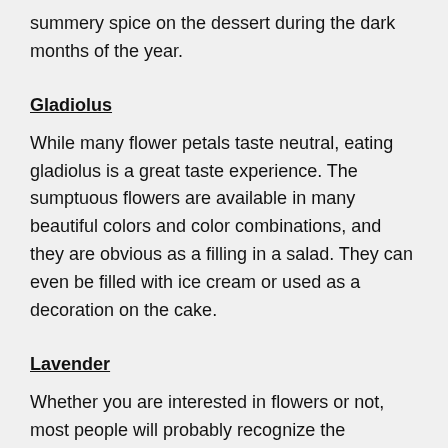summery spice on the dessert during the dark months of the year.
Gladiolus
While many flower petals taste neutral, eating gladiolus is a great taste experience. The sumptuous flowers are available in many beautiful colors and color combinations, and they are obvious as a filling in a salad. They can even be filled with ice cream or used as a decoration on the cake.
Lavender
Whether you are interested in flowers or not, most people will probably recognize the lavender - if nothing else, then for the characteristic scent used in everything from soap to fragrance bags and tea. Lavender can also be used in a fresh summer lemonade or cocktail.
Purple Sun Hat
One of the most beautiful gardens in the late summer is the